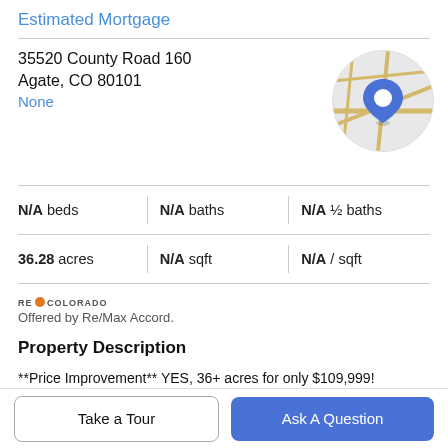Estimated Mortgage
35520 County Road 160
Agate, CO 80101
None
[Figure (map): Circular map thumbnail showing a location pin marker on a road map with golden/yellow roads on grey background]
| N/A beds | N/A baths | N/A ½ baths |
| 36.28 acres | N/A sqft | N/A / sqft |
[Figure (logo): RE/Colorado logo with flame icon]
Offered by Re/Max Accord.
Property Description
**Price Improvement** YES, 36+ acres for only $109,999! Build your home, bring your cows, horses and have that
Take a Tour
Ask A Question